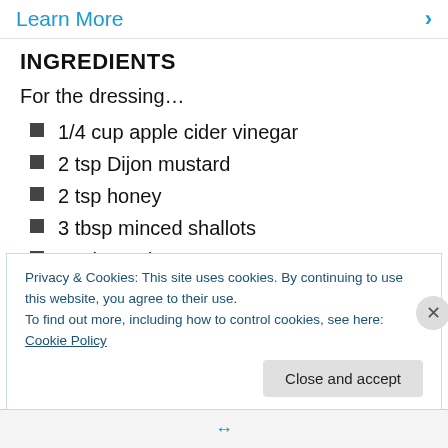Learn More ›
INGREDIENTS
For the dressing…
1/4 cup apple cider vinegar
2 tsp Dijon mustard
2 tsp honey
3 tbsp minced shallots
Kosher salt & pepper
A scant 1/2 cup good olive oil
Privacy & Cookies: This site uses cookies. By continuing to use this website, you agree to their use.
To find out more, including how to control cookies, see here: Cookie Policy
Close and accept